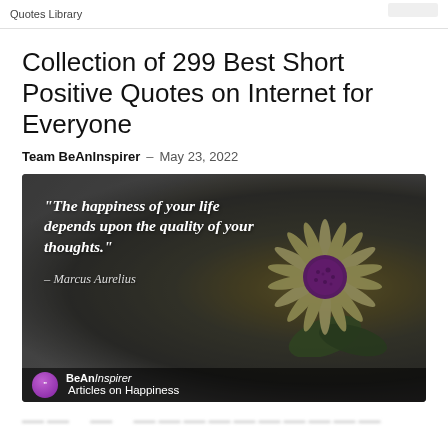Quotes Library
Collection of 299 Best Short Positive Quotes on Internet for Everyone
Team BeAnInspirer – May 23, 2022
[Figure (photo): Motivational quote image on a dark blurred flower background. Text reads: "The happiness of your life depends upon the quality of your thoughts." — Marcus Aurelius. BeAnInspirer logo and 'Articles on Happiness' label at the bottom.]
—— · —— · ———————————————————————